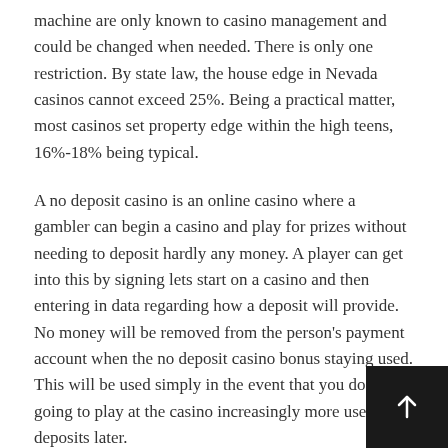machine are only known to casino management and could be changed when needed. There is only one restriction. By state law, the house edge in Nevada casinos cannot exceed 25%. Being a practical matter, most casinos set property edge within the high teens, 16%-18% being typical.
A no deposit casino is an online casino where a gambler can begin a casino and play for prizes without needing to deposit hardly any money. A player can get into this by signing lets start on a casino and then entering in data regarding how a deposit will provide. No money will be removed from the person's payment account when the no deposit casino bonus staying used. This will be used simply in the event that you does are going to play at the casino increasingly more use real deposits later.
Ruby in order to roll the red carpet for all VIP Online casino players. This is considered the crown jewel of gaming with 5